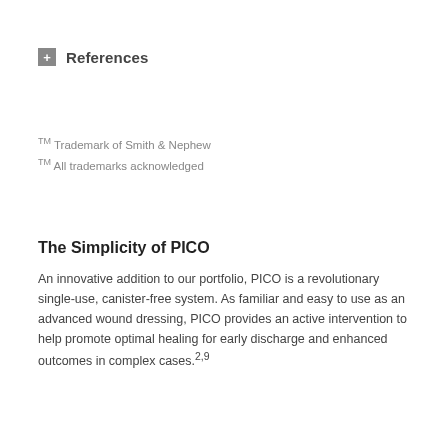References
TM Trademark of Smith & Nephew
TM All trademarks acknowledged
The Simplicity of PICO
An innovative addition to our portfolio, PICO is a revolutionary single-use, canister-free system. As familiar and easy to use as an advanced wound dressing, PICO provides an active intervention to help promote optimal healing for early discharge and enhanced outcomes in complex cases.2,9